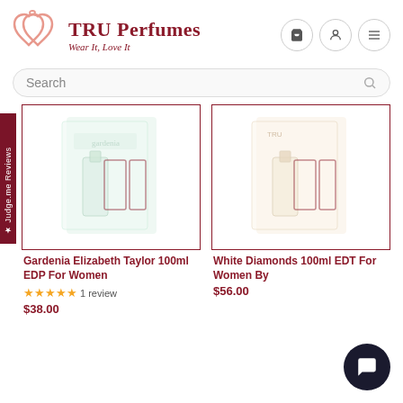[Figure (logo): TRU Perfumes logo with two interlocking heart outlines in salmon/pink color]
TRU Perfumes Wear It, Love It
[Figure (screenshot): Header icons: shopping cart, user profile, hamburger menu — each in circular bordered buttons]
Search
[Figure (photo): Gardenia Elizabeth Taylor perfume product image - light green bottle with box]
[Figure (photo): White Diamonds 100ml EDT perfume product image - cream/beige box and bottle]
Gardenia Elizabeth Taylor 100ml EDP For Women
★★★★★ 1 review
$38.00
White Diamonds 100ml EDT For Women By
$56.00
★ Judge.me Reviews